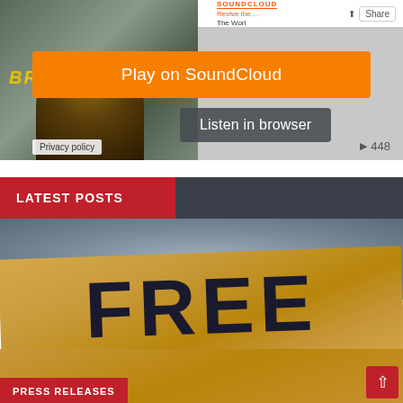[Figure (screenshot): SoundCloud embedded audio player widget showing a music track with thumbnail image of a person near a 'BREATHE' mural. Orange 'Play on SoundCloud' button and dark 'Listen in browser' button visible. Privacy policy badge at bottom left, play count 448 at bottom right.]
LATEST POSTS
[Figure (photo): Photo of a cardboard protest sign with 'FREE' written in large dark block letters, additional text partially cut off below. Blurred background. Red 'PRESS RELEASES' label badge at bottom left. Red scroll-up button at bottom right.]